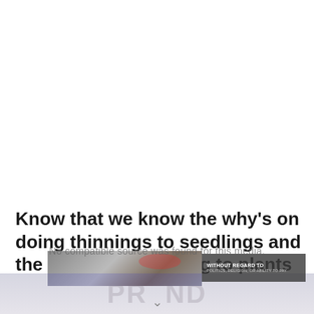Know that we know the why's on doing thinnings to seedlings and the benefits they bring to plants
[Figure (photo): A partially visible advertisement banner showing a cargo airplane being loaded on a tarmac, with a dark overlay box on the right containing text 'WITHOUT REGARD TO' and smaller subtitle text. Below is a faded background image with large watermark-style letters.]